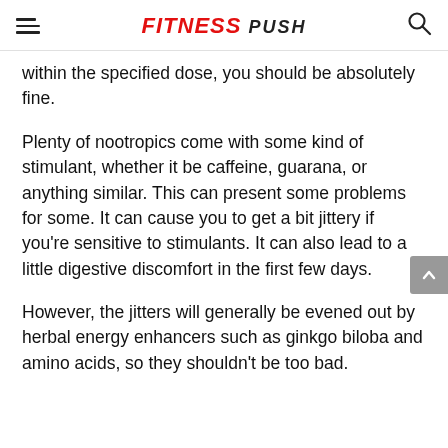FITNESS PUSH
within the specified dose, you should be absolutely fine.
Plenty of nootropics come with some kind of stimulant, whether it be caffeine, guarana, or anything similar. This can present some problems for some. It can cause you to get a bit jittery if you're sensitive to stimulants. It can also lead to a little digestive discomfort in the first few days.
However, the jitters will generally be evened out by herbal energy enhancers such as ginkgo biloba and amino acids, so they shouldn't be too bad.